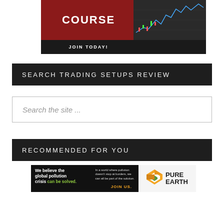[Figure (photo): Trading course advertisement banner with red background showing 'COURSE' text, stock chart on right side, and 'JOIN TODAY!' call to action on dark bar at bottom]
SEARCH TRADING SETUPS REVIEW
Search the site ...
RECOMMENDED FOR YOU
[Figure (photo): Pure Earth advertisement: 'We believe the global pollution crisis can be solved.' with JOIN US call to action and Pure Earth logo on right]